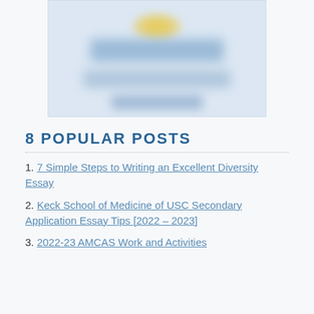[Figure (illustration): Blurred/redacted image with light blue background, yellow sun-like shape at top, and blue horizontal bands representing redacted text or graphic content]
8 POPULAR POSTS
1. 7 Simple Steps to Writing an Excellent Diversity Essay
2. Keck School of Medicine of USC Secondary Application Essay Tips [2022 – 2023]
3. 2022-23 AMCAS Work and Activities